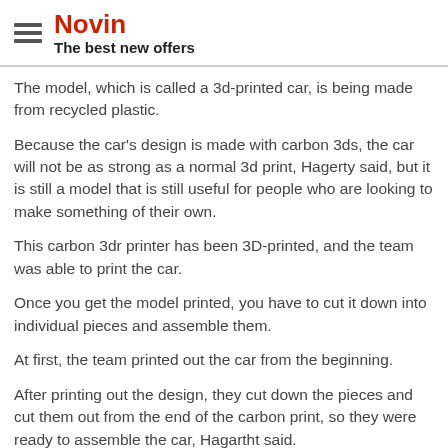Novin
The best new offers
The model, which is called a 3d-printed car, is being made from recycled plastic.
Because the car's design is made with carbon 3ds, the car will not be as strong as a normal 3d print, Hagerty said, but it is still a model that is still useful for people who are looking to make something of their own.
This carbon 3dr printer has been 3D-printed, and the team was able to print the car.
Once you get the model printed, you have to cut it down into individual pieces and assemble them.
At first, the team printed out the car from the beginning.
After printing out the design, they cut down the pieces and cut them out from the end of the carbon print, so they were ready to assemble the car, Hagartht said.
Once the car was assembled, they added pieces and